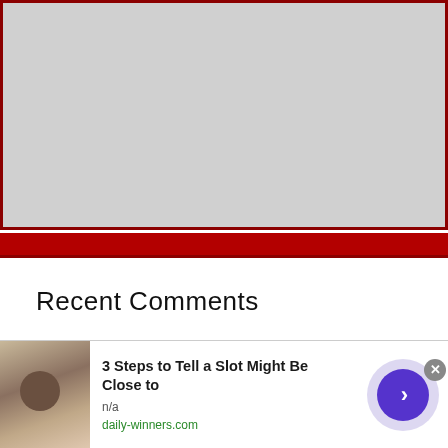[Figure (other): Gray placeholder image area with dark red border, representing an embedded image or advertisement slot]
Recent Comments
Mr.Yanners on Only Yesterday: 2013 Duel at
[Figure (infographic): Ad overlay banner at bottom: thumbnail image of a person, text '3 Steps to Tell a Slot Might Be Close to', 'n/a', 'daily-winners.com', purple circle arrow button, and X close button]